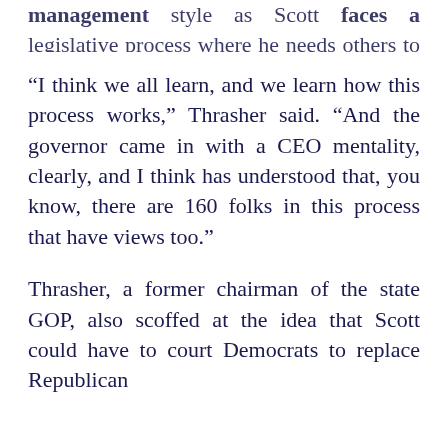management style as Scott faces a legislative process where he needs others to work with him.
“I think we all learn, and we learn how this process works,” Thrasher said. “And the governor came in with a CEO mentality, clearly, and I think has understood that, you know, there are 160 folks in this process that have views too.”
Thrasher, a former chairman of the state GOP, also scoffed at the idea that Scott could have to court Democrats to replace Republican defections in the coming session.